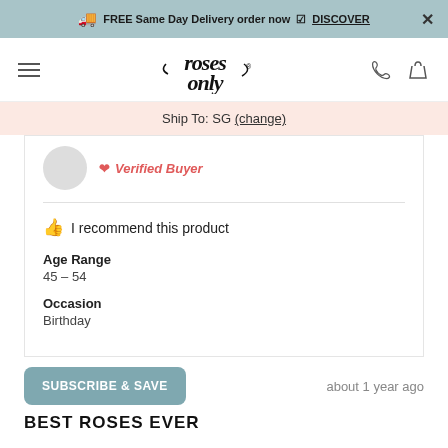FREE Same Day Delivery order now DISCOVER
[Figure (logo): Roses Only logo with Est. 1995 text, navigation icons including hamburger menu, phone, and basket]
Ship To: SG (change)
Verified Buyer
👍 I recommend this product
Age Range
45 - 54
Occasion
Birthday
SUBSCRIBE & SAVE
about 1 year ago
BEST ROSES EVER